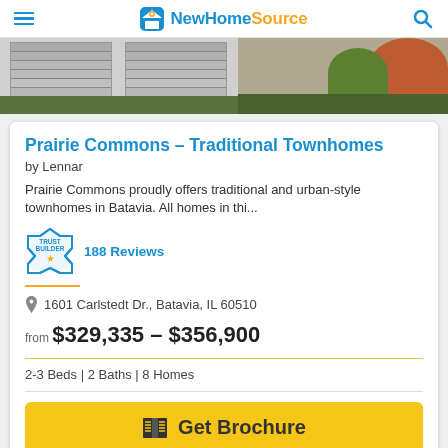NewHomeSource
[Figure (photo): Exterior photo of townhome garage and entry with landscaping]
Prairie Commons – Traditional Townhomes
by Lennar
Prairie Commons proudly offers traditional and urban-style townhomes in Batavia. All homes in thi...
188 Reviews
1601 Carlstedt Dr., Batavia, IL 60510
from $329,335 – $356,900
2-3 Beds | 2 Baths | 8 Homes
Get Brochure
[Figure (photo): Community photo showing houses and trees with Community label tag]